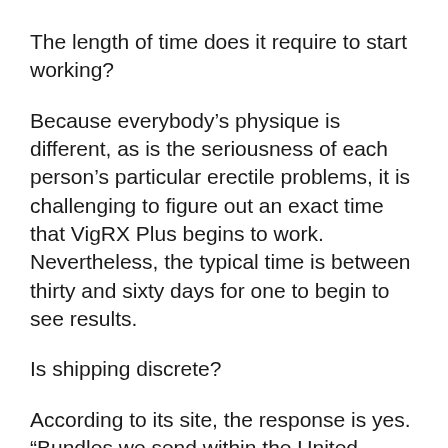The length of time does it require to start working?
Because everybody’s physique is different, as is the seriousness of each person’s particular erectile problems, it is challenging to figure out an exact time that VigRX Plus begins to work. Nevertheless, the typical time is between thirty and sixty days for one to begin to see results.
Is shipping discrete?
According to its site, the response is yes. “Bundles we send within the United States will have absolutely nothing on the box to distribute the contents inside. The charge on